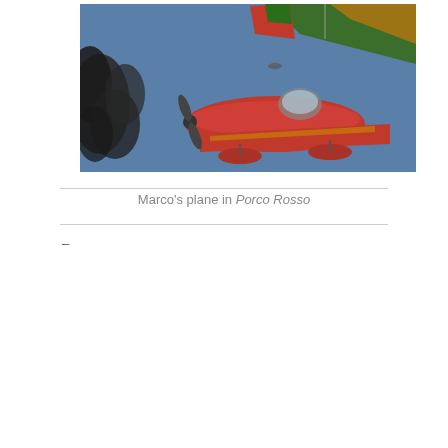[Figure (illustration): An animated illustration of Marco's red seaplane from the Studio Ghibli film Porco Rosso, shown from a low angle against a blue sky. A second smaller aircraft is visible in the background. Dark smoke trails from the left side.]
Marco's plane in Porco Rosso
–